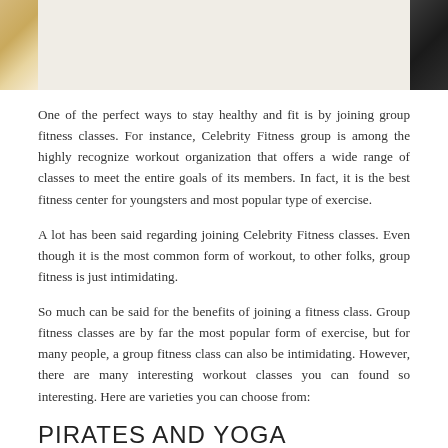[Figure (photo): Top image strip showing partial images on left (warm golden/tan tones) and right (dark black tones) edges]
One of the perfect ways to stay healthy and fit is by joining group fitness classes. For instance, Celebrity Fitness group is among the highly recognize workout organization that offers a wide range of classes to meet the entire goals of its members. In fact, it is the best fitness center for youngsters and most popular type of exercise.
A lot has been said regarding joining Celebrity Fitness classes. Even though it is the most common form of workout, to other folks, group fitness is just intimidating.
So much can be said for the benefits of joining a fitness class. Group fitness classes are by far the most popular form of exercise, but for many people, a group fitness class can also be intimidating. However, there are many interesting workout classes you can found so interesting. Here are varieties you can choose from:
PIRATES AND YOGA
Pirates and Yoga are always great as far as increased stability, strength and flexibility is concerned. Also. It's a great way of leaning ideal techniques and correct forms that are appropriate for every